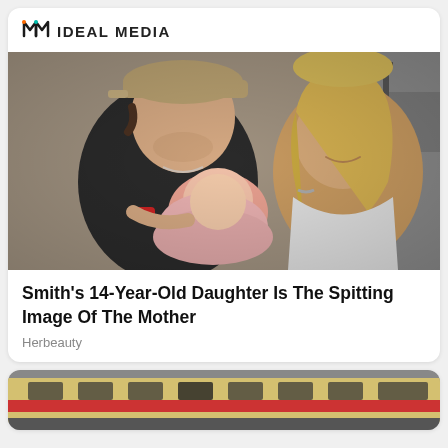IDEAL MEDIA
[Figure (photo): A young man wearing a tan cap and dark t-shirt holds a newborn baby wrapped in pink blanket, next to a smiling blonde woman, appearing to be in a hospital setting.]
Smith's 14-Year-Old Daughter Is The Spitting Image Of The Mother
Herbeauty
[Figure (photo): Partial view of a scene with what appears to be a yellow and red striped vehicle or train in the background.]